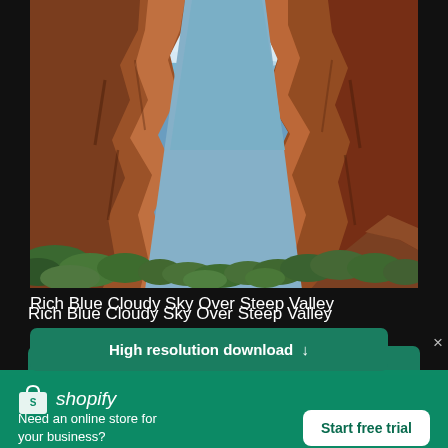[Figure (photo): Canyon landscape with red rock cliffs on both sides, green shrubs at the base, and a blue cloudy sky visible at the top between the cliffs.]
Rich Blue Cloudy Sky Over Steep Valley
High resolution download ↓
[Figure (logo): Shopify logo - white shopping bag icon with letter S, followed by white text 'shopify']
Need an online store for your business?
Start free trial